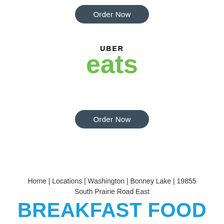[Figure (other): Order Now button (dark slate rounded pill button)]
[Figure (logo): Uber Eats logo with UBER text above and 'eats' in large green lowercase letters]
[Figure (other): Order Now button (dark slate rounded pill button) below Uber Eats logo]
Home | Locations | Washington | Bonney Lake | 19855 South Prairie Road East
BREAKFAST FOOD IN BONNEY LAKE